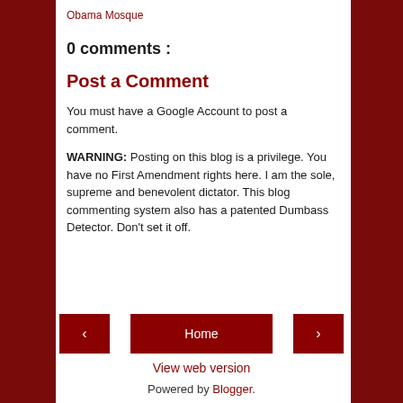Obama Mosque
0 comments :
Post a Comment
You must have a Google Account to post a comment.
WARNING: Posting on this blog is a privilege. You have no First Amendment rights here. I am the sole, supreme and benevolent dictator. This blog commenting system also has a patented Dumbass Detector. Don't set it off.
< Home > View web version Powered by Blogger.